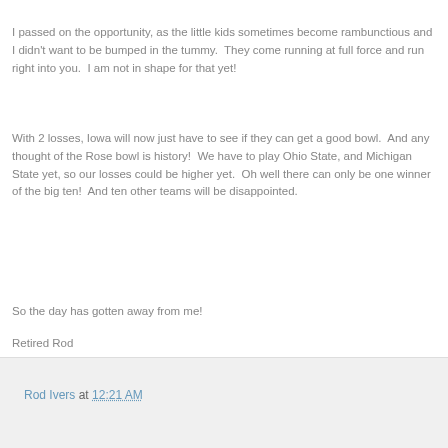I passed on the opportunity, as the little kids sometimes become rambunctious and I didn't want to be bumped in the tummy.  They come running at full force and run right into you.  I am not in shape for that yet!
With 2 losses, Iowa will now just have to see if they can get a good bowl.  And any thought of the Rose bowl is history!  We have to play Ohio State, and Michigan State yet, so our losses could be higher yet.  Oh well there can only be one winner of the big ten!  And ten other teams will be disappointed.
So the day has gotten away from me!
Retired Rod
Rod Ivers at 12:21 AM